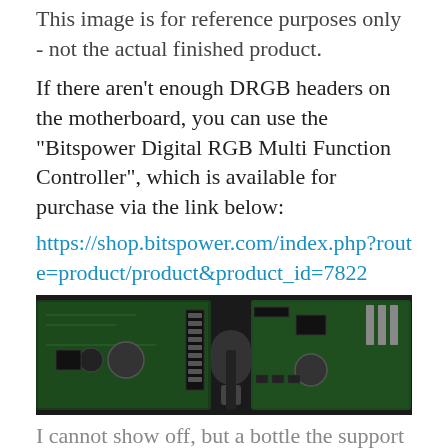This image is for reference purposes only - not the actual finished product.
If there aren't enough DRGB headers on the motherboard, you can use the "Bitspower Digital RGB Multi Function Controller", which is available for purchase via the link below:
https://shop.bitspower.com/index.php?route=product/product&product_id=7822
[Figure (photo): Photo of Bitspower Digital RGB Multi Function Controller PCB board with ribbon cable and connector]
I cannot show off, but a bottle the support